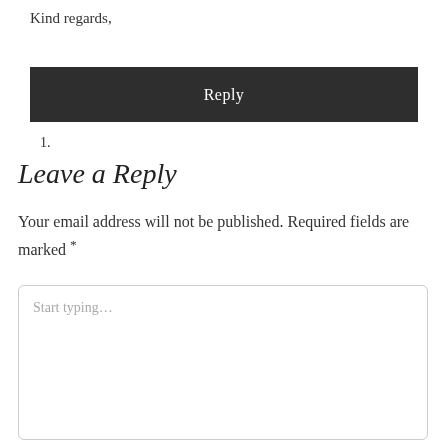Kind regards,
[Figure (other): Dark button labeled 'Reply']
1.
Leave a Reply
Your email address will not be published. Required fields are marked *
Start typing...